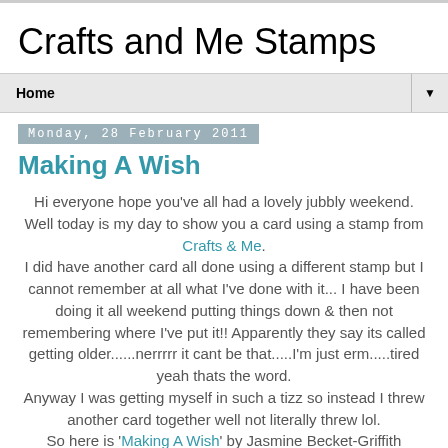Crafts and Me Stamps
Home
Monday, 28 February 2011
Making A Wish
Hi everyone hope you've all had a lovely jubbly weekend. Well today is my day to show you a card using a stamp from Crafts & Me. I did have another card all done using a different stamp but I cannot remember at all what I've done with it... I have been doing it all weekend putting things down & then not remembering where I've put it!! Apparently they say its called getting older......nerrrrr it cant be that.....I'm just erm.....tired yeah thats the word. Anyway I was getting myself in such a tizz so instead I threw another card together well not literally threw lol. So here is 'Making A Wish' by Jasmine Becket-Griffith